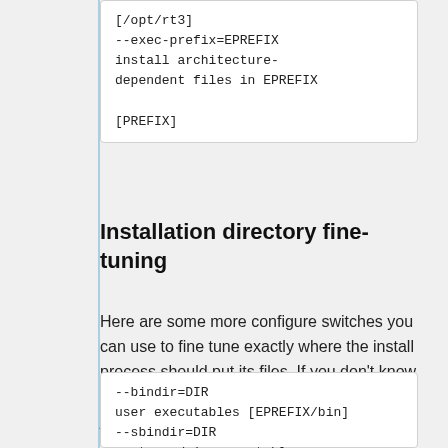[/opt/rt3]
--exec-prefix=EPREFIX
install architecture-dependent files in EPREFIX

[PREFIX]
Installation directory fine-tuning
Here are some more configure switches you can use to fine tune exactly where the install process should put its files. If you don't know why or to where you might change these, just accept the default.
--bindir=DIR
user executables [EPREFIX/bin]
--sbindir=DIR
system admin executables